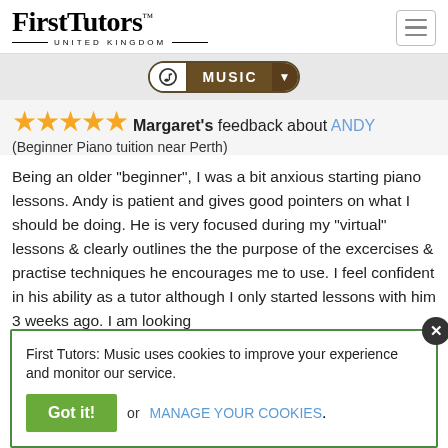[Figure (logo): First Tutors United Kingdom logo with hamburger menu icon]
[Figure (other): Music navigation pill button with musical note icon, MUSIC label, and dropdown arrow]
Margaret's feedback about ANDY (Beginner Piano tuition near Perth)
Being an older "beginner", I was a bit anxious starting piano lessons. Andy is patient and gives good pointers on what I should be doing. He is very focused during my "virtual" lessons & clearly outlines the the purpose of the excercises & practise techniques he encourages me to use. I feel confident in his ability as a tutor although I only started lessons with him 3 weeks ago. I am looking
First Tutors: Music uses cookies to improve your experience and monitor our service.
Got it! or MANAGE YOUR COOKIES.